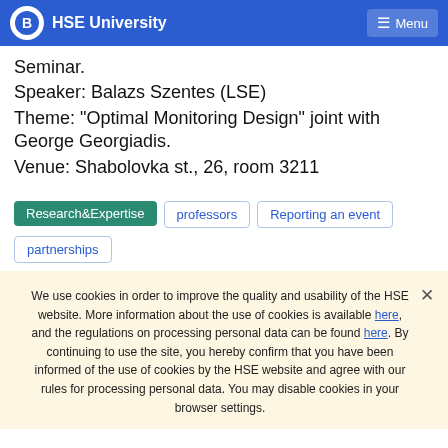HSE University  Menu
Seminar.
Speaker: Balazs Szentes (LSE)
Theme: "Optimal Monitoring Design" joint with George Georgiadis.
Venue: Shabolovka st., 26, room 3211
Research&Expertise
professors
Reporting an event
partnerships
We use cookies in order to improve the quality and usability of the HSE website. More information about the use of cookies is available here, and the regulations on processing personal data can be found here. By continuing to use the site, you hereby confirm that you have been informed of the use of cookies by the HSE website and agree with our rules for processing personal data. You may disable cookies in your browser settings.